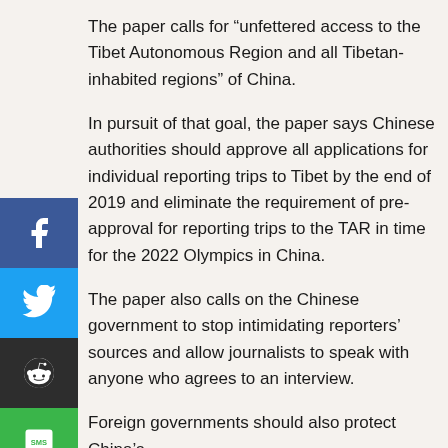The paper calls for “unfettered access to the Tibet Autonomous Region and all Tibetan-inhabited regions” of China.
In pursuit of that goal, the paper says Chinese authorities should approve all applications for individual reporting trips to Tibet by the end of 2019 and eliminate the requirement of pre-approval for reporting trips to the TAR in time for the 2022 Olympics in China.
The paper also calls on the Chinese government to stop intimidating reporters’ sources and allow journalists to speak with anyone who agrees to an interview.
Foreign governments should also protect China’s